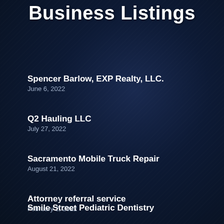Business Listings
Spencer Barlow, EXP Realty, LLC.
June 6, 2022
Q2 Hauling LLC
July 27, 2022
Sacramento Mobile Truck Repair
August 21, 2022
Attorney referral service
February 2, 2022
Smile Street Pediatric Dentistry